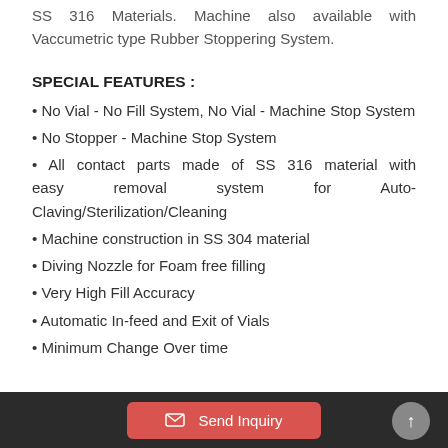SS 316 Materials. Machine also available with Vaccumetric type Rubber Stoppering System.
SPECIAL FEATURES :
• No Vial - No Fill System, No Vial - Machine Stop System
• No Stopper - Machine Stop System
• All contact parts made of SS 316 material with easy removal system for Auto-Claving/Sterilization/Cleaning
• Machine construction in SS 304 material
• Diving Nozzle for Foam free filling
• Very High Fill Accuracy
• Automatic In-feed and Exit of Vials
• Minimum Change Over time
Send Inquiry